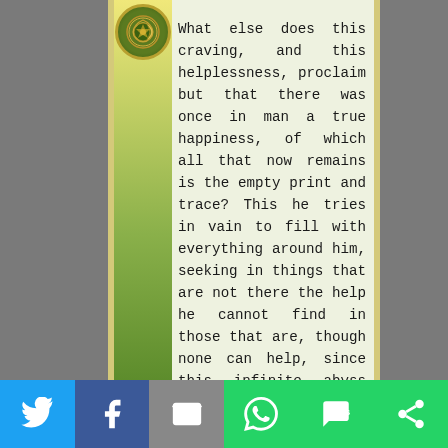What else does this craving, and this helplessness, proclaim but that there was once in man a true happiness, of which all that now remains is the empty print and trace? This he tries in vain to fill with everything around him, seeking in things that are not there the help he cannot find in those that are, though none can help, since this infinite abyss can be filled only
[Figure (logo): Celtic knot ornamental logo in gold and green circle]